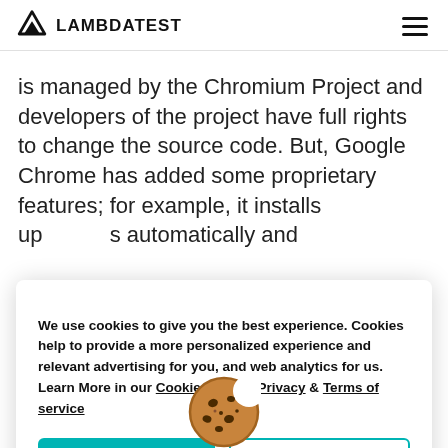LAMBDATEST
is managed by the Chromium Project and developers of the project have full rights to change the source code. But, Google Chrome has added some proprietary features; for example, it installs updates automatically and
[Figure (illustration): Cookie emoji icon — a brown cookie with chocolate chips, positioned overlapping the text and popup]
We use cookies to give you the best experience. Cookies help to provide a more personalized experience and relevant advertising for you, and web analytics for us. Learn More in our Cookies policy, Privacy & Terms of service
Allow Cookie   Cancel